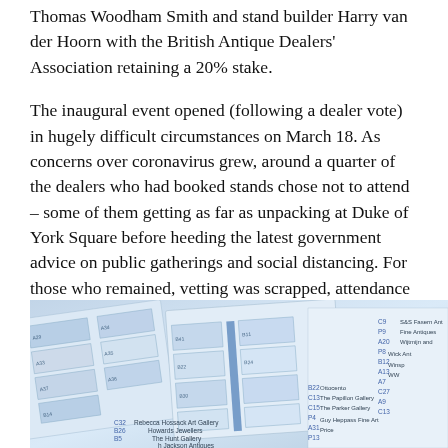Thomas Woodham Smith and stand builder Harry van der Hoorn with the British Antique Dealers' Association retaining a 20% stake.
The inaugural event opened (following a dealer vote) in hugely difficult circumstances on March 18. As concerns over coronavirus grew, around a quarter of the dealers who had booked stands chose not to attend – some of them getting as far as unpacking at Duke of York Square before heeding the latest government advice on public gatherings and social distancing. For those who remained, vetting was scrapped, attendance was low and the fair scheduled to run for more than a week closed on the afternoon of March 19.
[Figure (photo): A floor plan or map of an antique fair showing stand layouts with dealer names including Rebecca Hossack Art Gallery, Howards Jewellers, The Hunt Gallery, Ottocento, The Papillon Gallery, The Parker Gallery, S&S Antiques, Wick Antiques, and others. The plan is printed on light blue/white paper photographed at an angle.]